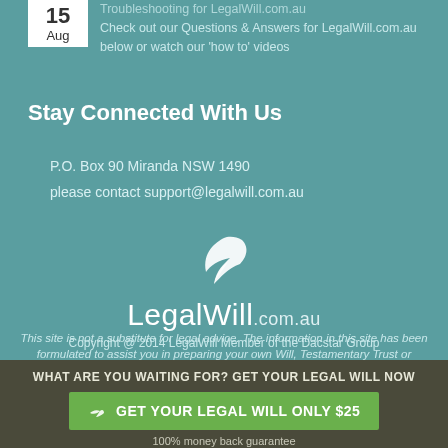Troubleshooting for LegalWill.com.au
Check out our Questions & Answers for LegalWill.com.au below or watch our 'how to' videos
Stay Connected With Us
P.O. Box 90 Miranda NSW 1490
please contact support@legalwill.com.au
[Figure (logo): LegalWill.com.au feather logo and brand name]
Copyright @ 2014 LegalWill Member of the Dacstar Group
This site is not a substitute for legal advice. The information in this site has been formulated to assist you in preparing your own Will, Testamentary Trust or Power
WHAT ARE YOU WAITING FOR? GET YOUR LEGAL WILL NOW
GET YOUR LEGAL WILL ONLY $25
100% money back guarantee